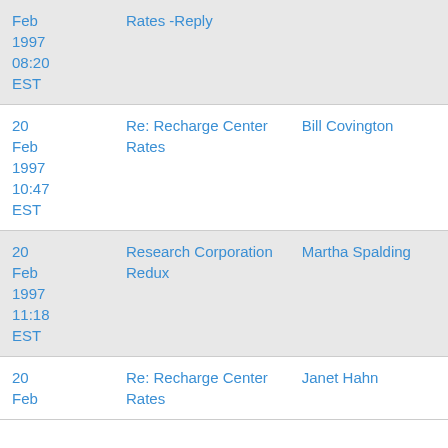| Date | Subject | Sender |
| --- | --- | --- |
| 20 Feb 1997 08:20 EST | Rates -Reply |  |
| 20 Feb 1997 10:47 EST | Re: Recharge Center Rates | Bill Covington |
| 20 Feb 1997 11:18 EST | Research Corporation Redux | Martha Spalding |
| 20 Feb | Re: Recharge Center Rates | Janet Hahn |